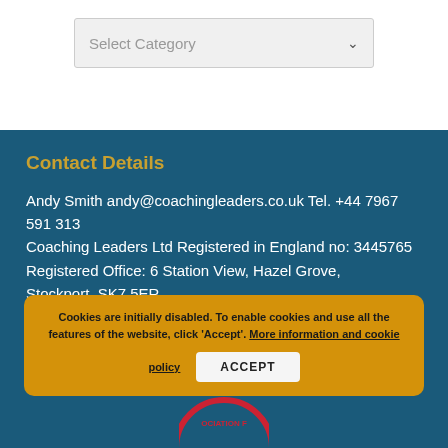[Figure (screenshot): A dropdown selector with label 'Select Category' and a chevron arrow]
Contact Details
Andy Smith andy@coachingleaders.co.uk Tel. +44 7967 591 313
Coaching Leaders Ltd Registered in England no: 3445765
Registered Office: 6 Station View, Hazel Grove, Stockport, SK7 5ER
Cookies are initially disabled. To enable cookies and use all the features of the website, click 'Accept'. More information and cookie policy   ACCEPT